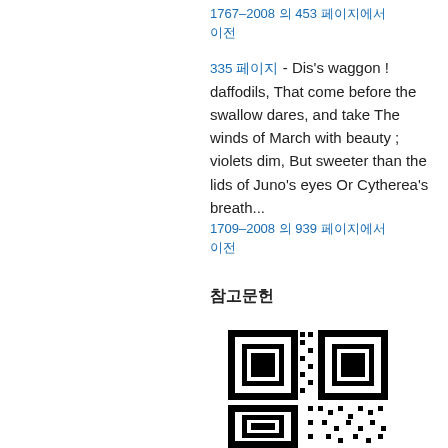1767–2008 의 453 페이지에서
335 페이지 - Dis's waggon ! daffodils, That come before the swallow dares, and take The winds of March with beauty ; violets dim, But sweeter than the lids of Juno's eyes Or Cytherea's breath...
1709–2008 의 939 페이지에서
참고문헌
[Figure (other): QR code]